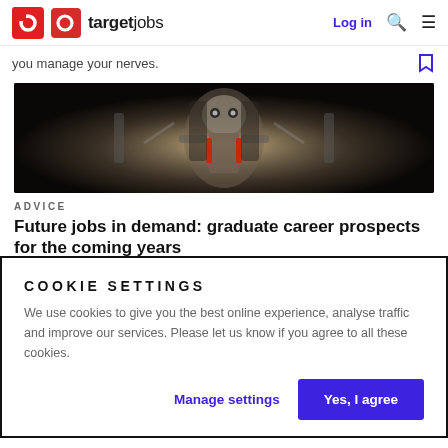targetjobs  Log in
you manage your nerves.
[Figure (photo): Sci-fi robot or mechanical figure with metallic and red accents against a dark background]
ADVICE
Future jobs in demand: graduate career prospects for the coming years
COOKIE SETTINGS
We use cookies to give you the best online experience, analyse traffic and improve our services. Please let us know if you agree to all these cookies.
Manage settings  Yes, I agree